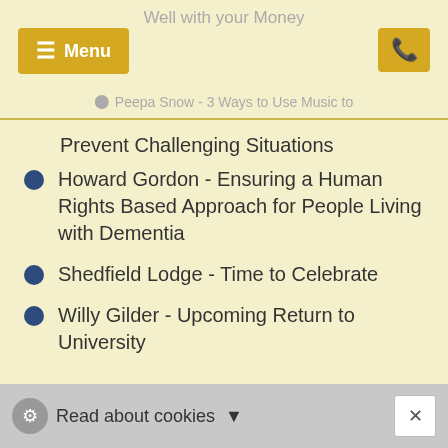Well with your Money
Peepa Snow - 3 Ways to Use Music to Prevent Challenging Situations
Howard Gordon - Ensuring a Human Rights Based Approach for People Living with Dementia
Shedfield Lodge - Time to Celebrate
Willy Gilder - Upcoming Return to University
Please send your feedback about the newsletter, whether you liked it or how it
Read about cookies  ×